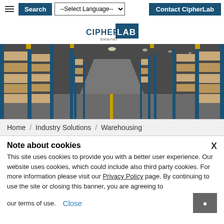Search | --Select Language-- | Contact CipherLab
[Figure (logo): CipherLab logo with 'Smarter' tagline]
[Figure (photo): Wide warehouse interior with tall blue metal shelving racks loaded with cardboard boxes, long aisle in perspective, industrial lighting from ceiling]
Home / Industry Solutions / Warehousing
Note about cookies
This site uses cookies to provide you with a better user experience. Our website uses cookies, which could include also third party cookies. For more information please visit our Privacy Policy page. By continuing to use the site or closing this banner, you are agreeing to our terms of use. Close